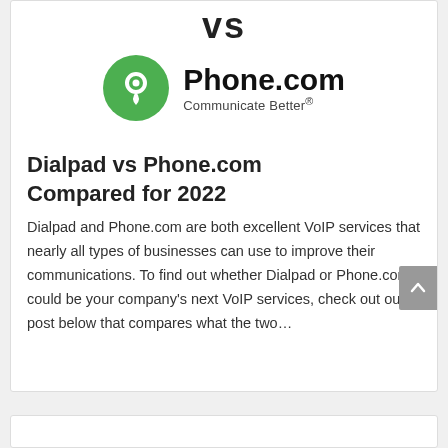vs
[Figure (logo): Phone.com logo: green circle with white phone/location icon, text 'Phone.com' in bold black, tagline 'Communicate Better®']
Dialpad vs Phone.com Compared for 2022
Dialpad and Phone.com are both excellent VoIP services that nearly all types of businesses can use to improve their communications. To find out whether Dialpad or Phone.com could be your company's next VoIP services, check out our post below that compares what the two…